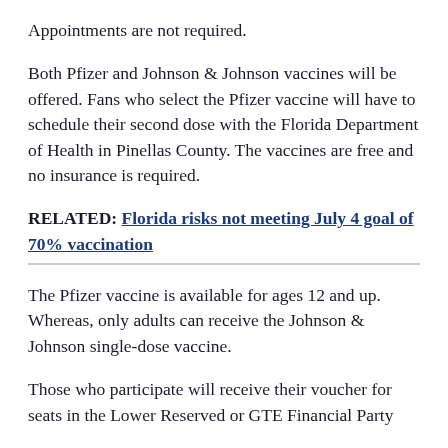Appointments are not required.
Both Pfizer and Johnson & Johnson vaccines will be offered. Fans who select the Pfizer vaccine will have to schedule their second dose with the Florida Department of Health in Pinellas County. The vaccines are free and no insurance is required.
RELATED: Florida risks not meeting July 4 goal of 70% vaccination
The Pfizer vaccine is available for ages 12 and up. Whereas, only adults can receive the Johnson & Johnson single-dose vaccine.
Those who participate will receive their voucher for seats in the Lower Reserved or GTE Financial Party